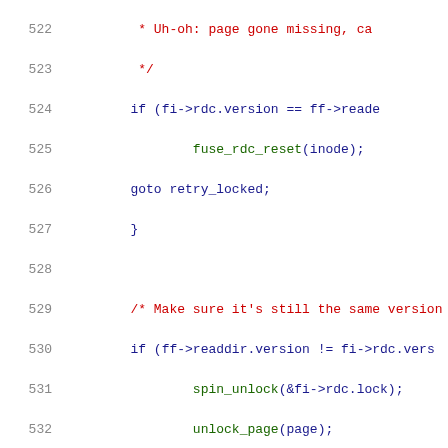[Figure (screenshot): Source code listing showing lines 522-543 of a C source file with syntax highlighting. Line numbers in grey on the left, comments in red, keywords and function calls in blue/green.]